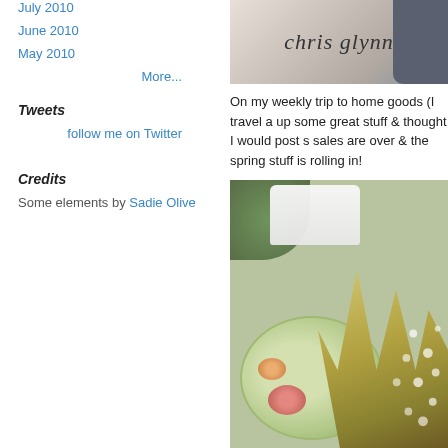July 2010
June 2010
May 2010
More...
Tweets
follow me on Twitter
Credits
Some elements by Sadie Olive
[Figure (photo): Top image showing cursive script text 'chris glynn' on a light background with a dark rounded object on the right side]
On my weekly trip to home goods (I travel a up some great stuff & thought I would post s sales are over & the spring stuff is rolling in
[Figure (photo): Photo of a decorative plate with floral rose pattern, a jeweled/rhinestone crown or fan brooch, white linens, and greenery in the background]